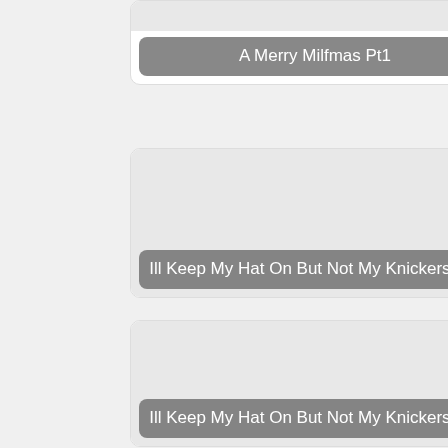A Merry Milfmas Pt1
Ill Keep My Hat On But Not My Knickers Pt2
Ill Keep My Hat On But Not My Knickers Pt1